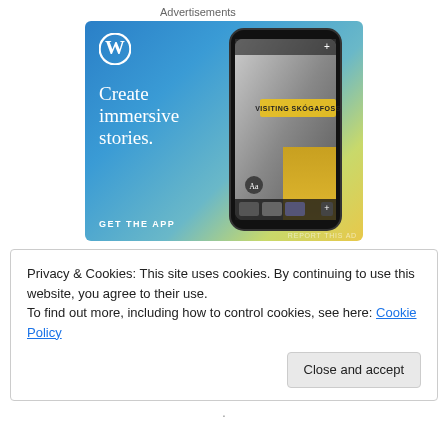Advertisements
[Figure (illustration): WordPress advertisement banner with gradient background (blue to yellow-green). Shows WordPress logo (W in circle), headline 'Create immersive stories.' in white serif font, 'GET THE APP' call-to-action in white bold caps, and a smartphone mockup on the right displaying a photo story titled 'VISITING SKÓGAFOSS'.]
REPORT THIS AD
Privacy & Cookies: This site uses cookies. By continuing to use this website, you agree to their use.
To find out more, including how to control cookies, see here: Cookie Policy
Close and accept